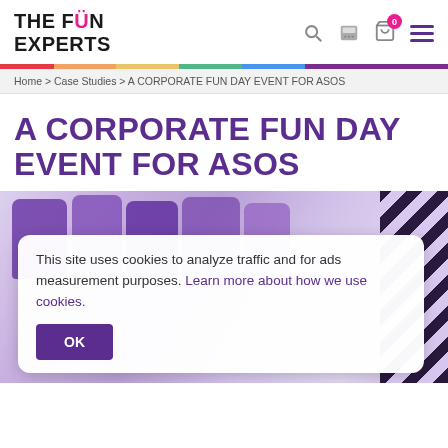THE FUN EXPERTS
Home > Case Studies > A CORPORATE FUN DAY EVENT FOR ASOS
A CORPORATE FUN DAY EVENT FOR ASOS
[Figure (photo): Purple letter/balloon shapes at an event venue with diagonal black and white stripes on the right side]
This site uses cookies to analyze traffic and for ads measurement purposes. Learn more about how we use cookies. OK